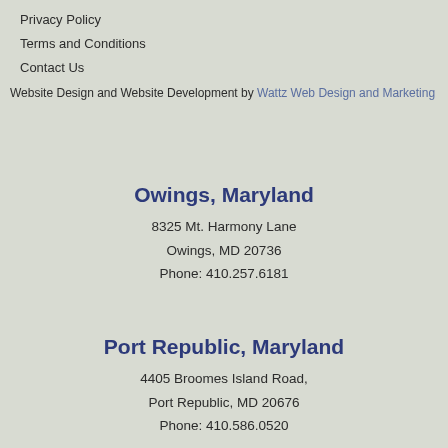Privacy Policy
Terms and Conditions
Contact Us
Website Design and Website Development by Wattz Web Design and Marketing
Owings, Maryland
8325 Mt. Harmony Lane
Owings, MD 20736
Phone: 410.257.6181
Port Republic, Maryland
4405 Broomes Island Road,
Port Republic, MD 20676
Phone: 410.586.0520